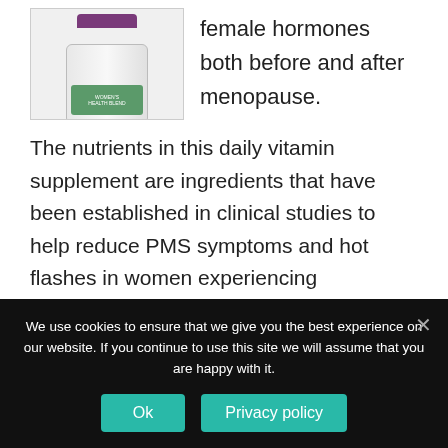[Figure (photo): Product supplement bottle image, partially visible at top left]
female hormones both before and after menopause.
The nutrients in this daily vitamin supplement are ingredients that have been established in clinical studies to help reduce PMS symptoms and hot flashes in women experiencing menopause symptoms.
These supplements will support a woman for
We use cookies to ensure that we give you the best experience on our website. If you continue to use this site we will assume that you are happy with it.